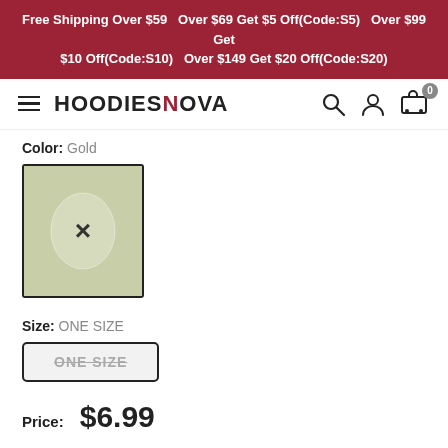Free Shipping Over $59   Over $69 Get $5 Off(Code:S5)   Over $99 Get $10 Off(Code:S10)   Over $149 Get $20 Off(Code:S20)
[Figure (logo): HoodiesNow logo with hamburger menu icon on the left and search, account, cart icons on the right]
Color: Gold
[Figure (photo): Gold color swatch thumbnail showing a jewelry item with an X mark overlay indicating out of stock or selected state]
Size: ONE SIZE
ONE SIZE (strikethrough button)
Price: $6.99
Quantity: 1